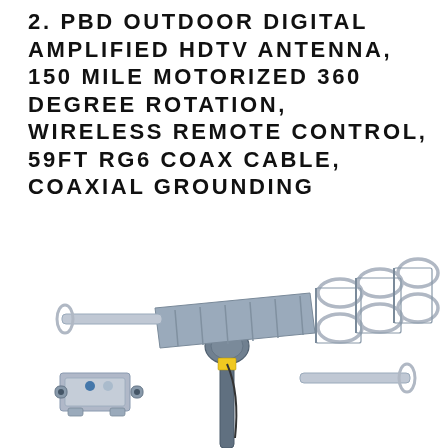2. PBD OUTDOOR DIGITAL AMPLIFIED HDTV ANTENNA, 150 MILE MOTORIZED 360 DEGREE ROTATION, WIRELESS REMOTE CONTROL, 59FT RG6 COAX CABLE, COAXIAL GROUNDING
[Figure (photo): Photo of a PBD outdoor digital amplified HDTV antenna with motorized 360-degree rotation mount, showing the antenna assembly with multiple reflector elements and loop dipoles on a pole mount, along with a small coaxial grounding block accessory in the lower left corner.]